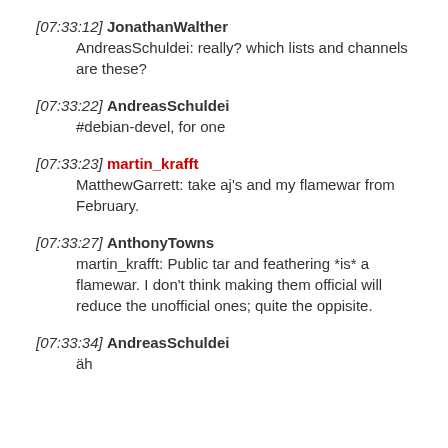[07:33:12] JonathanWalther
    AndreasSchuldei: really? which lists and channels are these?
[07:33:22] AndreasSchuldei
    #debian-devel, for one
[07:33:23] martin_krafft
    MatthewGarrett: take aj's and my flamewar from February.
[07:33:27] AnthonyTowns
    martin_krafft: Public tar and feathering *is* a flamewar. I don't think making them official will reduce the unofficial ones; quite the oppisite.
[07:33:34] AndreasSchuldei
    äh